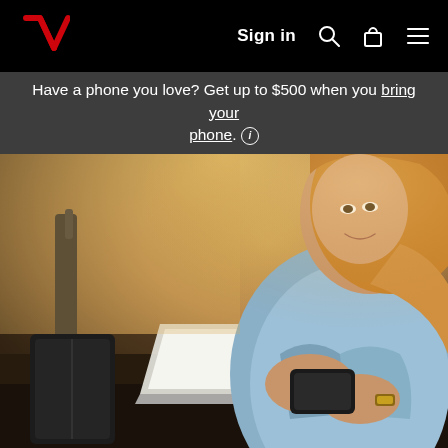Verizon - Sign in
Have a phone you love? Get up to $500 when you bring your phone. ⓘ
[Figure (photo): Woman with long blonde hair wearing a blue denim jacket, sitting and holding a smartphone, with a laptop open on her left and a rolling suitcase in the background. The scene appears to be in an airport or waiting area with warm ambient lighting.]